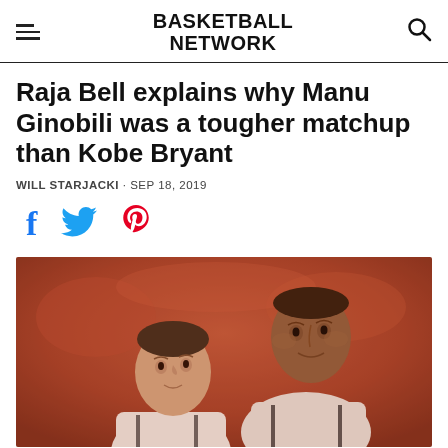BASKETBALL NETWORK
Raja Bell explains why Manu Ginobili was a tougher matchup than Kobe Bryant
WILL STARJACKI · SEP 18, 2019
[Figure (photo): Two basketball players in Spurs uniforms, one (Manu Ginobili) facing the camera and one (Raja Bell) behind, with an orange/red blurred crowd background.]